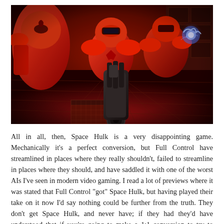[Figure (screenshot): Screenshot from Space Hulk video game showing red Space Marine soldiers in heavy armor in a dark red-lit corridor/room. One soldier in the center holds a large gatling-style gun, another to the right displays a glowing blue energy effect. The scene is rendered in dramatic red tones with metallic industrial flooring.]
All in all, then, Space Hulk is a very disappointing game. Mechanically it's a perfect conversion, but Full Control have streamlined in places where they really shouldn't, failed to streamline in places where they should, and have saddled it with one of the worst AIs I've seen in modern video gaming. I read a lot of previews where it was stated that Full Control "got" Space Hulk, but having played their take on it now I'd say nothing could be further from the truth. They don't get Space Hulk, and never have; if they had they'd have understood that if you're going to make a 1:1 conversion to try to capture what makes the board game